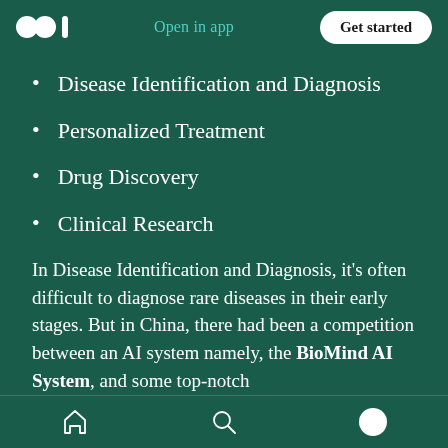Open in app  Get started
Disease Identification and Diagnosis
Personalized Treatment
Drug Discovery
Clinical Research
In Disease Identification and Diagnosis, it's often difficult to diagnose rare diseases in their early stages. But in China, there had been a competition between an AI system namely, the BioMind AI System, and some top-notch
Home  Search  Profile